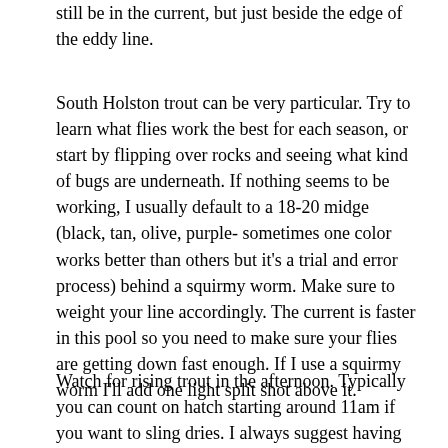still be in the current, but just beside the edge of the eddy line.
South Holston trout can be very particular. Try to learn what flies work the best for each season, or start by flipping over rocks and seeing what kind of bugs are underneath. If nothing seems to be working, I usually default to a 18-20 midge (black, tan, olive, purple- sometimes one color works better than others but it's a trial and error process) behind a squirmy worm. Make sure to weight your line accordingly. The current is faster in this pool so you need to make sure your flies are getting down fast enough. If I use a squirmy worm I'll add one light split shot above it.
Watch for rising trout in the afternoon. Typically you can count on hatch starting around 11am if you want to sling dries. I always suggest having an